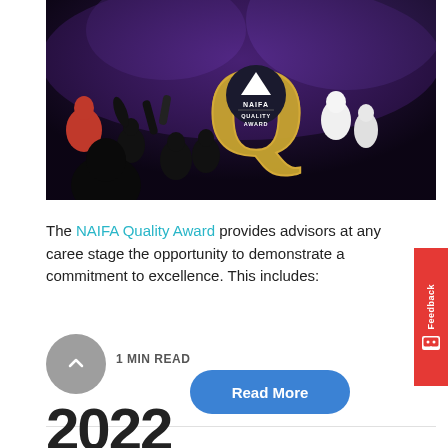[Figure (photo): Event photo showing audience silhouettes with raised hands against purple stage lighting, with the NAIFA Quality Award gold logo (large Q with NAIFA triangle logo inside) prominently displayed in the center]
The NAIFA Quality Award provides advisors at any career stage the opportunity to demonstrate a commitment to excellence. This includes:
Read More
1 MIN READ
2022